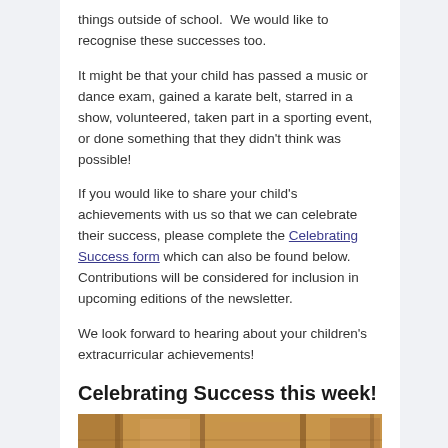things outside of school.  We would like to recognise these successes too.
It might be that your child has passed a music or dance exam, gained a karate belt, starred in a show, volunteered, taken part in a sporting event, or done something that they didn't think was possible!
If you would like to share your child's achievements with us so that we can celebrate their success, please complete the Celebrating Success form which can also be found below. Contributions will be considered for inclusion in upcoming editions of the newsletter.
We look forward to hearing about your children's extracurricular achievements!
Celebrating Success this week!
[Figure (photo): Photo of wooden objects, warm tones, partially visible at bottom of page]